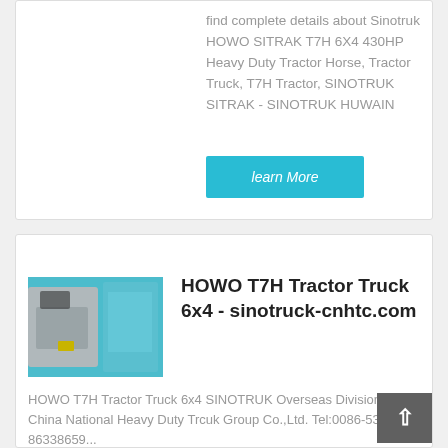find complete details about Sinotruk HOWO SITRAK T7H 6X4 430HP Heavy Duty Tractor Horse, Tractor Truck, T7H Tractor, SINOTRUK SITRAK - SINOTRUK HUWAIN
learn More
[Figure (photo): Photo of HOWO T7H tractor truck cab interior/exterior showing teal/turquoise door panel and interior]
HOWO T7H Tractor Truck 6x4 - sinotruck-cnhtc.com
HOWO T7H Tractor Truck 6x4 SINOTRUK Overseas Division. China National Heavy Duty Trcuk Group Co.,Ltd. Tel:0086-531-86338659...